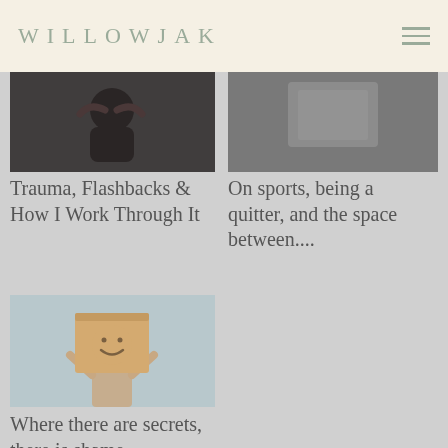WILLOWJAK
[Figure (photo): Person with head in hands, dark tones, distress photo]
Trauma, Flashbacks & How I Work Through It
[Figure (photo): Dark toned abstract or person photo]
On sports, being a quitter, and the space between....
[Figure (photo): Person holding a cardboard box with smiley face over their head, light blue background]
Where there are secrets, there is shame